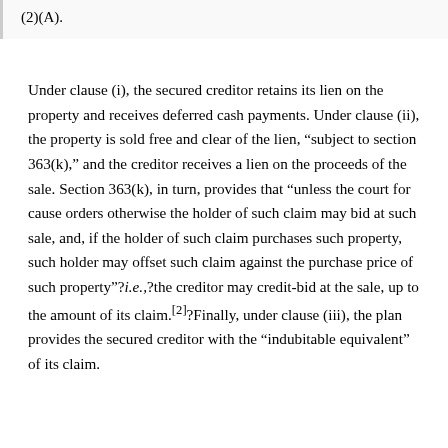(2)(A).
Under clause (i), the secured creditor retains its lien on the property and receives deferred cash payments. Under clause (ii), the property is sold free and clear of the lien, “subject to section 363(k),” and the creditor receives a lien on the proceeds of the sale. Section 363(k), in turn, provides that “unless the court for cause orders otherwise the holder of such claim may bid at such sale, and, if the holder of such claim purchases such property, such holder may offset such claim against the purchase price of such property”?i.e.,?the creditor may credit-bid at the sale, up to the amount of its claim.[2]?Finally, under clause (iii), the plan provides the secured creditor with the “indubitable equivalent” of its claim.